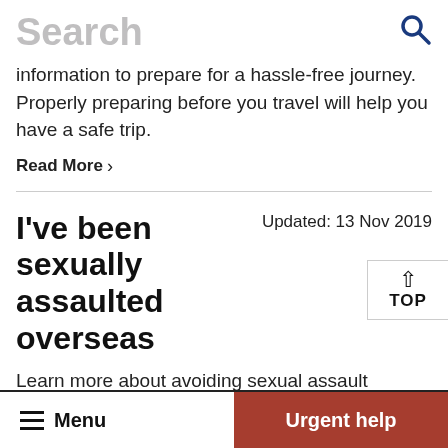Search
information to prepare for a hassle-free journey. Properly preparing before you travel will help you have a safe trip.
Read More  >
I've been sexually assaulted overseas
Updated: 13 Nov 2019
TOP
Learn more about avoiding sexual assault overseas, what to do if you've been assault and how we can help.
Menu   Urgent help